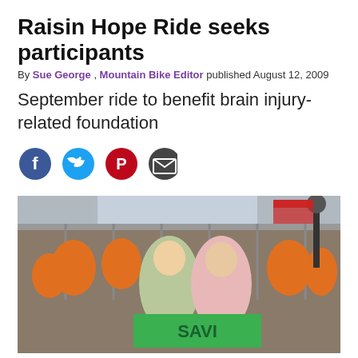Raisin Hope Ride seeks participants
By Sue George , Mountain Bike Editor published August 12, 2009
September ride to benefit brain injury-related foundation
[Figure (photo): Group photo of cyclists and participants at an outdoor event. Two young women in the foreground hold a green banner reading 'SAVI'. Many participants wearing orange are visible in the background near metal railings, with flags and lamp posts visible.]